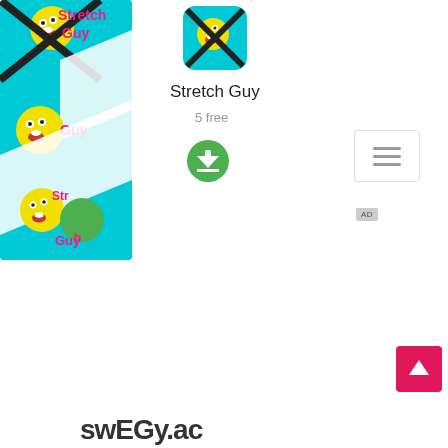[Figure (screenshot): Stretch Guy app screenshot banner showing emoji stickman characters on cyan background with pink text]
[Figure (illustration): Stretch Guy app icon - emoji stickman on cyan rounded square background]
Stretch Guy
5 free
[Figure (illustration): Green circular download button with white downward arrow]
[Figure (illustration): Hamburger menu button - three horizontal lines in white rounded rectangle]
AD
[Figure (illustration): Pink/red back-to-top button with upward caret arrow]
swEGy.ac